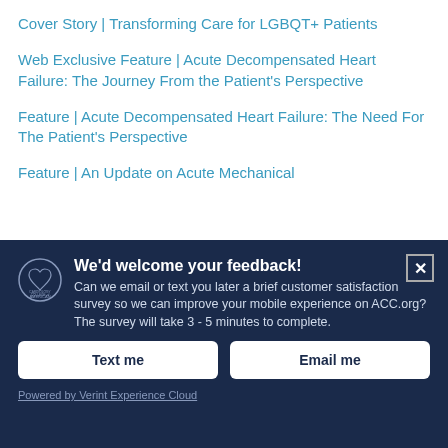Cover Story | Transforming Care for LGBQT+ Patients
Web Exclusive Feature | Acute Decompensated Heart Failure: The Journey From the Patient's Perspective
Feature | Acute Decompensated Heart Failure: The Need For The Patient's Perspective
Feature | An Update on Acute Mechanical
We'd welcome your feedback! Can we email or text you later a brief customer satisfaction survey so we can improve your mobile experience on ACC.org? The survey will take 3 - 5 minutes to complete.
Text me
Email me
Powered by Verint Experience Cloud